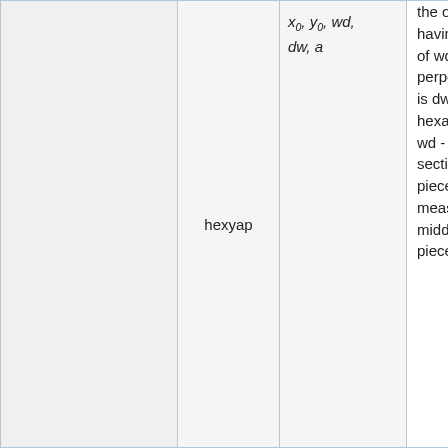|  | hexyap | x0, y0, wd, dw, a | the outer hexagon having outer half-width of wd, and the surface perpendicular thickness is dw (the inner hexagon half width is wd - dw), and each half-section of each angle piece with width of a measured from the middle tip of the angle piece angle to |
| --- | --- | --- | --- |
|  | hexyap | x₀, y₀, wd, dw, a | the outer hexagon having outer half-width of wd, and the surface perpendicular thickness is dw (the inner hexagon half width is wd - dw), and each half-section of each angle piece with width of a measured from the middle tip of the angle piece angle to |